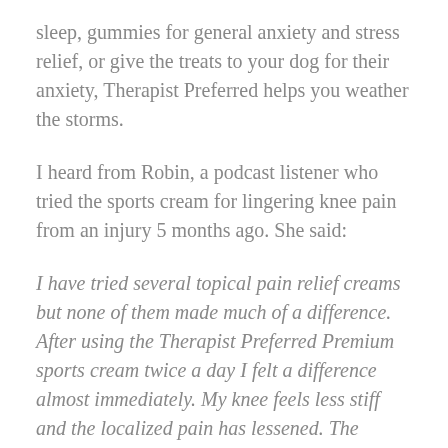sleep, gummies for general anxiety and stress relief, or give the treats to your dog for their anxiety, Therapist Preferred helps you weather the storms.
I heard from Robin, a podcast listener who tried the sports cream for lingering knee pain from an injury 5 months ago. She said:
I have tried several topical pain relief creams but none of them made much of a difference. After using the Therapist Preferred Premium sports cream twice a day I felt a difference almost immediately. My knee feels less stiff and the localized pain has lessened. The